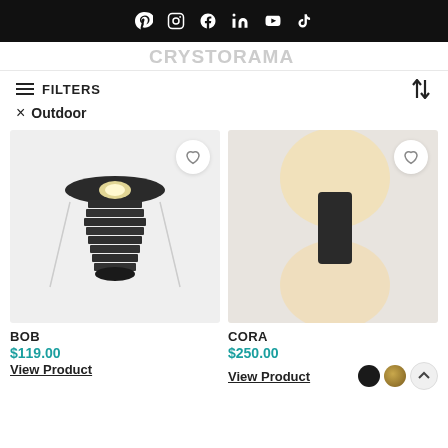Social media icons bar (Pinterest, Instagram, Facebook, LinkedIn, YouTube, TikTok)
[Figure (logo): Brand logo bar with stylized text logo]
≡ FILTERS  ↑↓
× Outdoor
[Figure (photo): BOB outdoor recessed ground light, dark ribbed cylindrical body with round top, on light grey background]
BOB
$119.00
View Product
[Figure (photo): CORA outdoor wall light, dark rectangular body emitting warm glow upward and downward, on light grey background]
CORA
$250.00
View Product